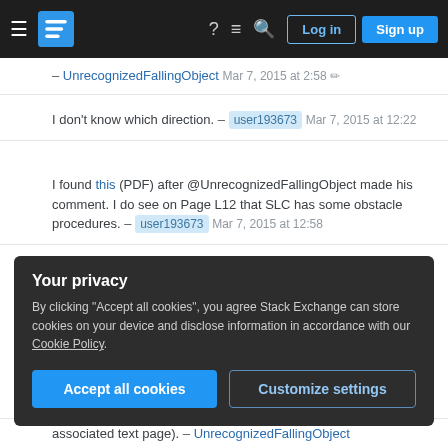Stack Exchange navigation bar with hamburger menu, logo, help, chat, search icons, Log in and Sign up buttons
– UnrecognizedFallingObject Mar 7, 2015 at 2:58
I don't know which direction. – user193673 Mar 7, 2015 at 12:22
I found this (PDF) after @UnrecognizedFallingObject made his comment. I do see on Page L12 that SLC has some obstacle procedures. – user193673 Mar 7, 2015 at 12:58
However, none of the SLC ODPs involve circling (a climb-in-hold, in other words). Look at IFP (Laughlin/Bullhead Int'l) or CGZ (Casa Grande Muni) in that document for examples of a departure procedure
Your privacy
By clicking "Accept all cookies", you agree Stack Exchange can store cookies on your device and disclose information in accordance with our Cookie Policy.
Accept all cookies   Customize settings
associated text page). – UnrecognizedFallingObject